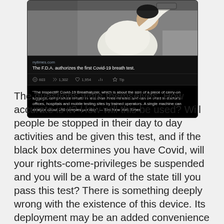[Figure (screenshot): Screenshot of a tweet/social media post showing a NYTimes article about the FDA authorizing the first Covid-19 breath test. Includes a photo of a person blowing into a device, the nytimes.com link preview with title 'The F.D.A. authorizes the first Covid-19 breath test.', engagement metrics (603 comments, 1,302 retweets, 1,954 likes, Tip), and a quoted excerpt from the article about the InspectIR Covid-19 Breathalyzer.]
The questions write themselves. How accurate is it? How will this be used? Will people be stopped in their day to day activities and be given this test, and if the black box determines you have Covid, will your rights-come-privileges be suspended and you will be a ward of the state till you pass this test? There is something deeply wrong with the existence of this device. Its deployment may be an added convenience